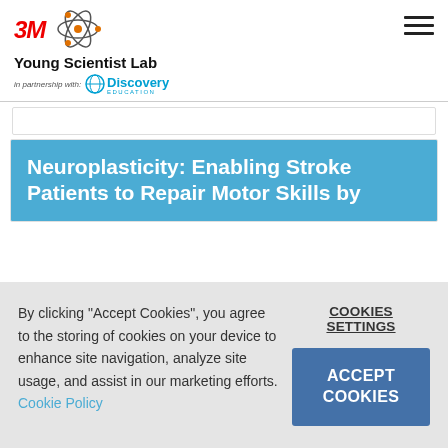3M Young Scientist Lab — in partnership with Discovery Education
Neuroplasticity: Enabling Stroke Patients to Repair Motor Skills by
By clicking "Accept Cookies", you agree to the storing of cookies on your device to enhance site navigation, analyze site usage, and assist in our marketing efforts. Cookie Policy
COOKIES SETTINGS
ACCEPT COOKIES